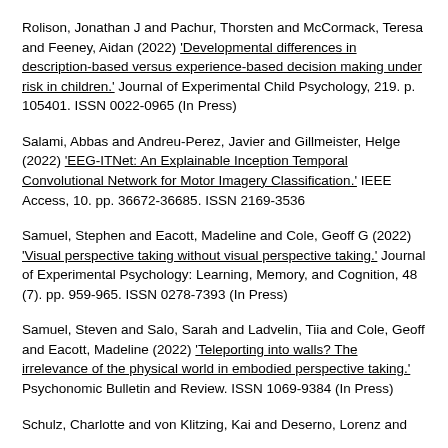Rolison, Jonathan J and Pachur, Thorsten and McCormack, Teresa and Feeney, Aidan (2022) 'Developmental differences in description-based versus experience-based decision making under risk in children.' Journal of Experimental Child Psychology, 219. p. 105401. ISSN 0022-0965 (In Press)
Salami, Abbas and Andreu-Perez, Javier and Gillmeister, Helge (2022) 'EEG-ITNet: An Explainable Inception Temporal Convolutional Network for Motor Imagery Classification.' IEEE Access, 10. pp. 36672-36685. ISSN 2169-3536
Samuel, Stephen and Eacott, Madeline and Cole, Geoff G (2022) 'Visual perspective taking without visual perspective taking.' Journal of Experimental Psychology: Learning, Memory, and Cognition, 48 (7). pp. 959-965. ISSN 0278-7393 (In Press)
Samuel, Steven and Salo, Sarah and Ladvelin, Tiia and Cole, Geoff and Eacott, Madeline (2022) 'Teleporting into walls? The irrelevance of the physical world in embodied perspective taking.' Psychonomic Bulletin and Review. ISSN 1069-9384 (In Press)
Schulz, Charlotte and von Klitzing, Kai and Deserno, Lorenz and